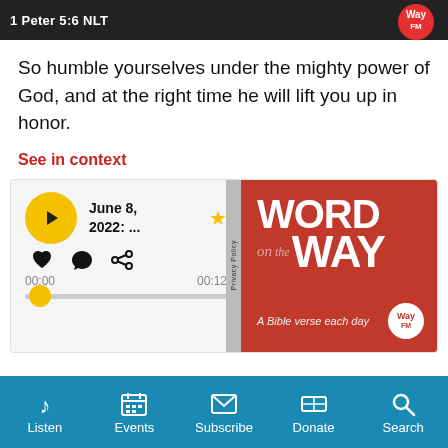1 Peter 5:6 NLT
So humble yourselves under the mighty power of God, and at the right time he will lift you up in honor.
See in context
[Figure (screenshot): Audio player widget showing episode 'June 8, 2022: ...' with play button, heart, comment, and share icons, progress bar showing 00:00 and 00:12, alongside a red podcast cover image for 'Word on the Way' by Way FM - A Bible verse each day]
Listen | Events | Subscribe | Donate | Search